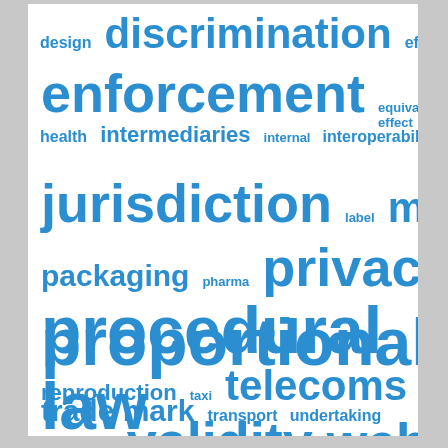[Figure (infographic): Word cloud of legal terms in blue, with font sizes reflecting term frequency/importance. Terms include: design, discrimination, effectiveness, enforcement, equivalent effect, external relations, health, intermediaries, internal, interoperability, jurisdiction, label, media, packaging, pharma, privacy, procedural law, proportionality, reproduction, taxi, telecoms, trade mark, transport, undertaking, unfair competition, validity, website.]